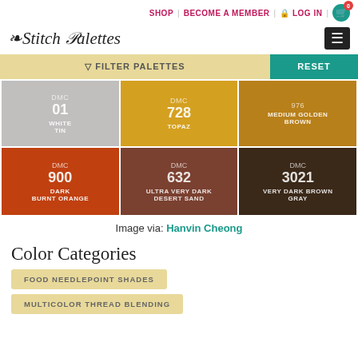SHOP | BECOME A MEMBER | LOG IN
Stitch Palettes
FILTER PALETTES | RESET
[Figure (infographic): Color palette grid showing 6 DMC thread colors: DMC 01 White Tin (gray), DMC 728 Topaz (golden yellow), DMC 976 Medium Golden Brown (amber), DMC 900 Dark Burnt Orange (burnt orange), DMC 632 Ultra Very Dark Desert Sand (dark brown), DMC 3021 Very Dark Brown Gray (very dark brown)]
Image via: Hanvin Cheong
Color Categories
FOOD NEEDLEPOINT SHADES
MULTICOLOR THREAD BLENDING